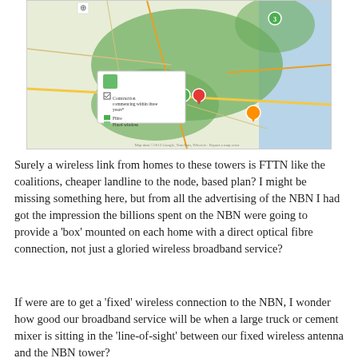[Figure (map): A Google Maps-style screenshot showing a region of New South Wales, Australia with green shaded areas indicating NBN coverage zones (fibre and fixed wireless). Map pins are visible including green and red location markers. A legend popup shows 'Construction commencing within three years' with Fibre and Fixed wireless options.]
Surely a wireless link from homes to these towers is FTTN like the coalitions, cheaper landline to the node, based plan? I might be missing something here, but from all the advertising of the NBN I had got the impression the billions spent on the NBN were going to provide a 'box' mounted on each home with a direct optical fibre connection, not just a gloried wireless broadband service?
If were are to get a 'fixed' wireless connection to the NBN, I wonder how good our broadband service will be when a large truck or cement mixer is sitting in the 'line-of-sight' between our fixed wireless antenna and the NBN tower?